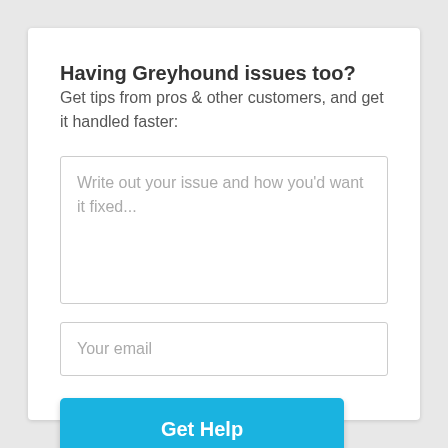Having Greyhound issues too?
Get tips from pros & other customers, and get it handled faster:
Write out your issue and how you'd want it fixed...
Your email
Get Help